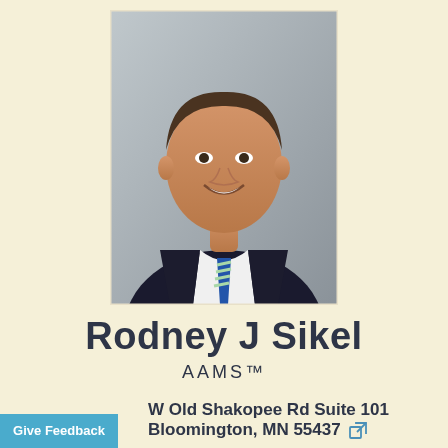[Figure (photo): Professional headshot of Rodney J Sikel, a man in a dark suit and blue striped tie, smiling, against a gray background.]
Rodney J Sikel
AAMS™
W Old Shakopee Rd Suite 101
Bloomington, MN 55437